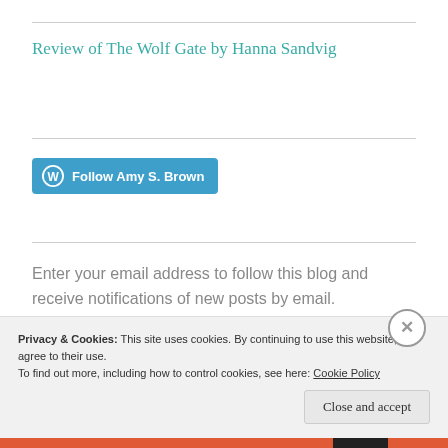Review of The Wolf Gate by Hanna Sandvig
[Figure (other): WordPress Follow button: Follow Amy S. Brown]
Enter your email address to follow this blog and receive notifications of new posts by email.
Enter your email address
Privacy & Cookies: This site uses cookies. By continuing to use this website, you agree to their use.
To find out more, including how to control cookies, see here: Cookie Policy
Close and accept